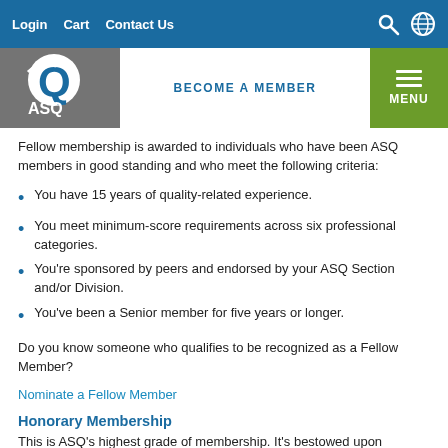Login   Cart   Contact Us
[Figure (logo): ASQ logo (circular Q mark with ASQ text below) on grey overlay banner]
BECOME A MEMBER
MENU
Fellow membership is awarded to individuals who have been ASQ members in good standing and who meet the following criteria:
You have 15 years of quality-related experience.
You meet minimum-score requirements across six professional categories.
You're sponsored by peers and endorsed by your ASQ Section and/or Division.
You've been a Senior member for five years or longer.
Do you know someone who qualifies to be recognized as a Fellow Member?
Nominate a Fellow Member
Honorary Membership
This is ASQ's highest grade of membership. It's bestowed upon